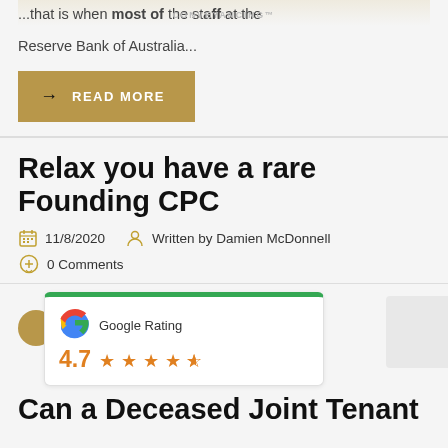...that is when most of the staff at the Reserve Bank of Australia...
READ MORE
Relax you have a rare Founding CPC
11/8/2020  Written by Damien McDonnell
0 Comments
[Figure (other): Google Rating card showing 4.7 stars out of 5 with orange star icons and green top border]
Can a Deceased Joint Tenant